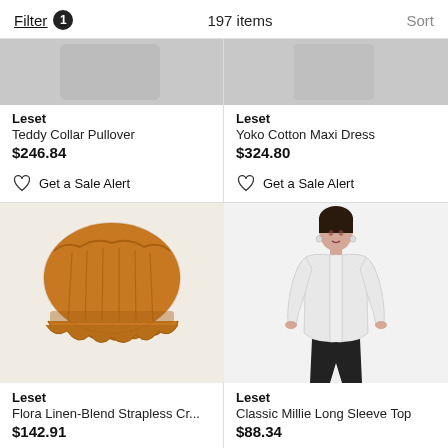Filter 1   197 items   Sort
Leset
Teddy Collar Pullover
$246.84
Get a Sale Alert
Leset
Yoko Cotton Maxi Dress
$324.80
Get a Sale Alert
[Figure (photo): Orange ruched strapless linen-blend crop top by Leset]
Leset
Flora Linen-Blend Strapless Cr...
$142.91
Get a Sale Alert
[Figure (photo): Woman wearing white long sleeve top with black pants by Leset, Classic Millie Long Sleeve Top]
Leset
Classic Millie Long Sleeve Top
$88.34
Get a Sale Alert